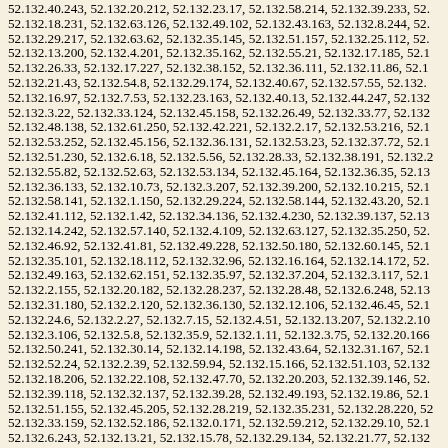52.132.40.243, 52.132.20.212, 52.132.23.17, 52.132.58.214, 52.132.39.233, 52.132.18.231, 52.132.63.126, 52.132.49.102, 52.132.43.163, 52.132.8.244, 52.132.29.217, 52.132.63.62, 52.132.35.145, 52.132.51.157, 52.132.25.112, 52.132.13.200, 52.132.4.201, 52.132.35.162, 52.132.55.21, 52.132.17.185, 52.132.26.33, 52.132.17.227, 52.132.38.152, 52.132.36.111, 52.132.11.86, 52.132.21.43, 52.132.54.8, 52.132.29.174, 52.132.40.67, 52.132.57.55, 52.132.16.97, 52.132.7.53, 52.132.23.163, 52.132.40.13, 52.132.44.247, 52.132.3.22, 52.132.33.124, 52.132.45.158, 52.132.26.49, 52.132.33.77, 52.132.48.138, 52.132.61.250, 52.132.42.221, 52.132.2.17, 52.132.53.216, 52.132.53.252, 52.132.45.156, 52.132.36.131, 52.132.53.23, 52.132.37.72, 52.132.51.230, 52.132.6.18, 52.132.5.56, 52.132.28.33, 52.132.38.191, 52.132.55.82, 52.132.52.63, 52.132.53.134, 52.132.45.164, 52.132.36.35, 52.132.36.133, 52.132.10.73, 52.132.3.207, 52.132.39.200, 52.132.10.215, 52.132.58.141, 52.132.1.150, 52.132.29.224, 52.132.58.144, 52.132.43.20, 52.132.41.112, 52.132.1.42, 52.132.34.136, 52.132.4.230, 52.132.39.137, 52.132.14.242, 52.132.57.140, 52.132.4.109, 52.132.63.127, 52.132.35.250, 52.132.46.92, 52.132.41.81, 52.132.49.228, 52.132.50.180, 52.132.60.145, 52.132.35.101, 52.132.18.112, 52.132.32.96, 52.132.16.164, 52.132.14.172, 52.132.49.163, 52.132.62.151, 52.132.35.97, 52.132.37.204, 52.132.3.117, 52.132.2.155, 52.132.20.182, 52.132.28.237, 52.132.28.48, 52.132.6.248, 52.132.31.180, 52.132.2.120, 52.132.36.130, 52.132.12.106, 52.132.46.45, 52.132.24.6, 52.132.2.27, 52.132.7.15, 52.132.4.51, 52.132.13.207, 52.132.2.10, 52.132.3.106, 52.132.5.8, 52.132.35.9, 52.132.1.11, 52.132.3.75, 52.132.20.166, 52.132.50.241, 52.132.30.14, 52.132.14.198, 52.132.43.64, 52.132.31.167, 52.132.52.24, 52.132.2.39, 52.132.59.94, 52.132.15.166, 52.132.51.103, 52.132.18.206, 52.132.22.108, 52.132.47.70, 52.132.20.203, 52.132.39.146, 52.132.39.118, 52.132.32.137, 52.132.39.28, 52.132.49.193, 52.132.19.86, 52.132.51.155, 52.132.45.205, 52.132.28.219, 52.132.35.231, 52.132.28.220, 52.132.33.159, 52.132.52.186, 52.132.0.171, 52.132.59.212, 52.132.29.10, 52.132.6.243, 52.132.13.21, 52.132.15.78, 52.132.29.134, 52.132.21.77, 52.132.18.225, 52.132.12.156, 52.132.11.127, 52.132.52.60, 52.132.50.251, 52.132.40.98, 52.132.37.83, 52.132.48.84, 52.132.31.207, 52.132.3.141, 52.132.15.58, 52.132.21.22, 52.132.51.150, 52.132.27.242, 52.132.52.154,